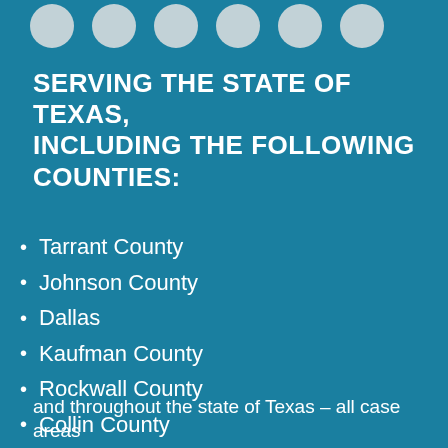[Figure (illustration): Row of circular icon buttons partially visible at the top of the page]
SERVING THE STATE OF TEXAS, INCLUDING THE FOLLOWING COUNTIES:
Tarrant County
Johnson County
Dallas
Kaufman County
Rockwall County
Collin County
Denton County
Parker County
Ellis County
and throughout the state of Texas – all case areas